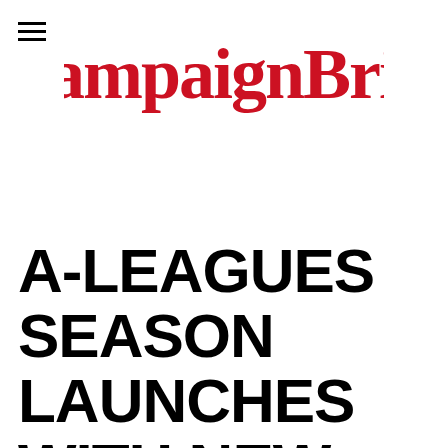[Figure (logo): Campaign Brief logo in red cursive/script lettering]
A-LEAGUES SEASON LAUNCHES WITH NEW ANTHEM FROM YOUNG FRANCO, TKAY MAIDZA +